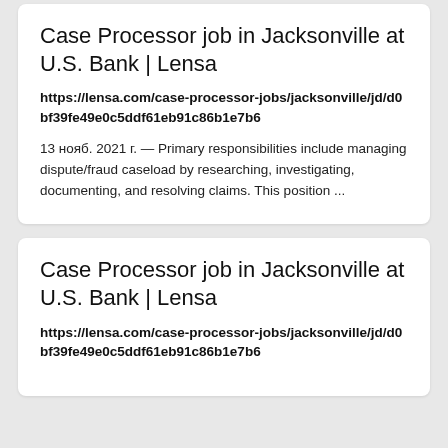Case Processor job in Jacksonville at U.S. Bank | Lensa
https://lensa.com/case-processor-jobs/jacksonville/jd/d0bf39fe49e0c5ddf61eb91c86b1e7b6
13 нояб. 2021 г. — Primary responsibilities include managing dispute/fraud caseload by researching, investigating, documenting, and resolving claims. This position ...
Case Processor job in Jacksonville at U.S. Bank | Lensa
https://lensa.com/case-processor-jobs/jacksonville/jd/d0bf39fe49e0c5ddf61eb91c86b1e7b6